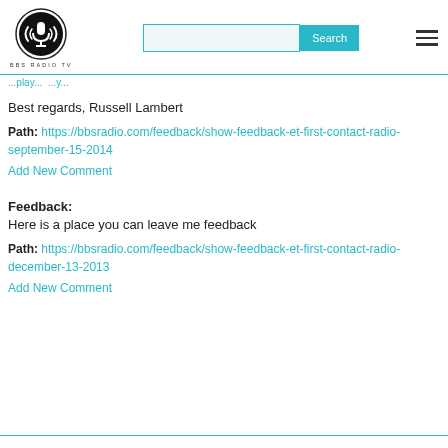[Figure (logo): BBS Radio TV logo: circular black and white icon with microphone symbol, text BBS RADIO TV below]
BBS RADIO TV header with search bar and hamburger menu
(partial navigation link text in teal)
Best regards, Russell Lambert
Path: https://bbsradio.com/feedback/show-feedback-et-first-contact-radio-september-15-2014
Add New Comment
Feedback:
Here is a place you can leave me feedback
Path: https://bbsradio.com/feedback/show-feedback-et-first-contact-radio-december-13-2013
Add New Comment